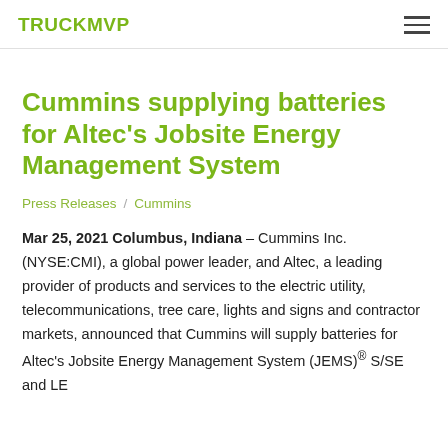TRUCKMVP
Cummins supplying batteries for Altec's Jobsite Energy Management System
Press Releases / Cummins
Mar 25, 2021 Columbus, Indiana – Cummins Inc. (NYSE:CMI), a global power leader, and Altec, a leading provider of products and services to the electric utility, telecommunications, tree care, lights and signs and contractor markets, announced that Cummins will supply batteries for Altec's Jobsite Energy Management System (JEMS)® S/SE and LE